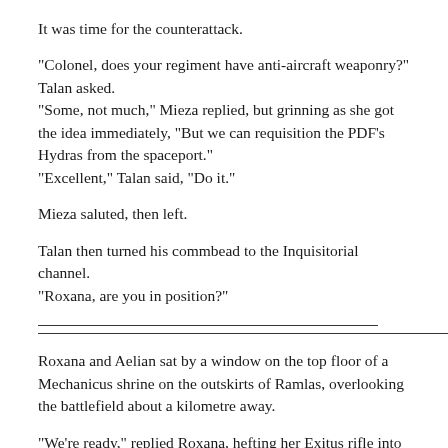It was time for the counterattack.
"Colonel, does your regiment have anti-aircraft weaponry?" Talan asked.
"Some, not much," Mieza replied, but grinning as she got the idea immediately, "But we can requisition the PDF's Hydras from the spaceport."
"Excellent," Talan said, "Do it."
Mieza saluted, then left.
Talan then turned his commbead to the Inquisitorial channel.
"Roxana, are you in position?"
Roxana and Aelian sat by a window on the top floor of a Mechanicus shrine on the outskirts of Ramlas, overlooking the battlefield about a kilometre away.
"We're ready," replied Roxana, hefting her Exitus rifle into position.
"You know what to do," Talan stated.
"You think this'll work?" Aelian asked, loading a krak missile into a launcher.
"Yep," replied Roxana, "Ferenz's plans always work."
"For you, maybe," Aelian replied, getting into position himself.